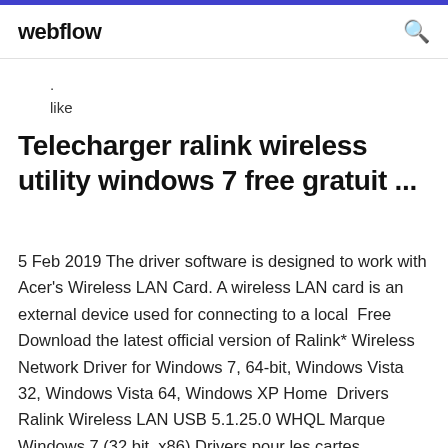webflow
.
like
Telecharger ralink wireless utility windows 7 free gratuit ...
5 Feb 2019 The driver software is designed to work with Acer's Wireless LAN Card. A wireless LAN card is an external device used for connecting to a local  Free Download the latest official version of Ralink* Wireless Network Driver for Windows 7, 64-bit, Windows Vista 32, Windows Vista 64, Windows XP Home  Drivers Ralink Wireless LAN USB 5.1.25.0 WHQL Marque Windows 7 (32 bit, x86) Drivers pour les cartes